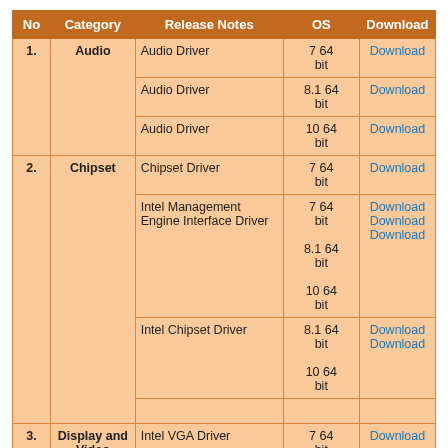| No | Category | Release Notes | OS | Download |
| --- | --- | --- | --- | --- |
| 1. | Audio | Audio Driver | 7 64 bit | Download |
|  |  | Audio Driver | 8.1 64 bit | Download |
|  |  | Audio Driver | 10 64 bit | Download |
| 2. | Chipset | Chipset Driver | 7 64 bit | Download |
|  |  | Intel Management Engine Interface Driver | 7 64 bit
8.1 64 bit
10 64 bit | Download
Download
Download |
|  |  | Intel Chipset Driver | 8.1 64 bit
10 64 bit | Download
Download |
|  |  |  |  |  |
| 3. | Display and Video Graphics | Intel VGA Driver | 7 64 bit | Download |
|  |  | Intel VGA Driver | 8.1 64 | Download |